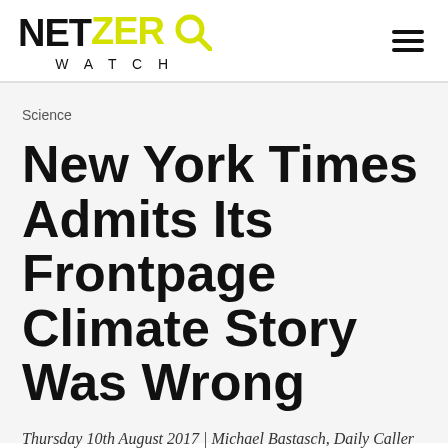NET ZERO WATCH
Science
New York Times Admits Its Frontpage Climate Story Was Wrong
Thursday 10th August 2017 | Michael Bastasch, Daily Caller